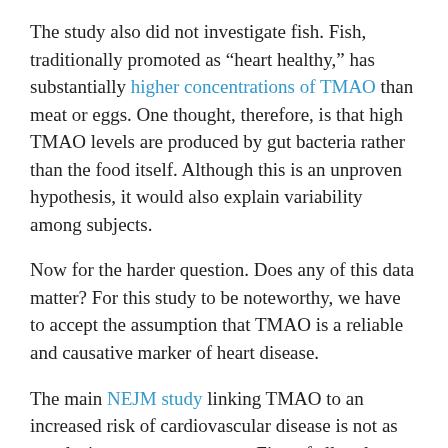The study also did not investigate fish. Fish, traditionally promoted as “heart healthy,” has substantially higher concentrations of TMAO than meat or eggs. One thought, therefore, is that high TMAO levels are produced by gut bacteria rather than the food itself. Although this is an unproven hypothesis, it would also explain variability among subjects.
Now for the harder question. Does any of this data matter? For this study to be noteworthy, we have to accept the assumption that TMAO is a reliable and causative marker of heart disease.
The main NEJM study linking TMAO to an increased risk of cardiovascular disease is not as conclusive as many promote. First of all, only those at the upper quartile of TMAO level had a significant increase in cardiovascular disease risk. Lower elevations had no significant correlation.
Second, those with increased TMAO and cardiovascular disease